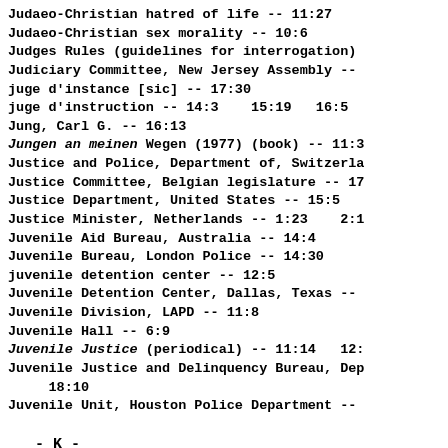Judaeo-Christian hatred of life -- 11:27
Judaeo-Christian sex morality -- 10:6
Judges Rules (guidelines for interrogation)
Judiciary Committee, New Jersey Assembly --
juge d'instance [sic] -- 17:30
juge d'instruction -- 14:3    15:19   16:5
Jung, Carl G. -- 16:13
Jungen an meinen Wegen (1977) (book) -- 11:3
Justice and Police, Department of, Switzerla
Justice Committee, Belgian legislature -- 17
Justice Department, United States -- 15:5
Justice Minister, Netherlands -- 1:23    2:1
Juvenile Aid Bureau, Australia -- 14:4
Juvenile Bureau, London Police -- 14:30
juvenile detention center -- 12:5
Juvenile Detention Center, Dallas, Texas --
Juvenile Division, LAPD -- 11:8
Juvenile Hall -- 6:9
Juvenile Justice (periodical) -- 11:14   12:
Juvenile Justice and Delinquency Bureau, Dep     18:10
Juvenile Unit, Houston Police Department --
- K -